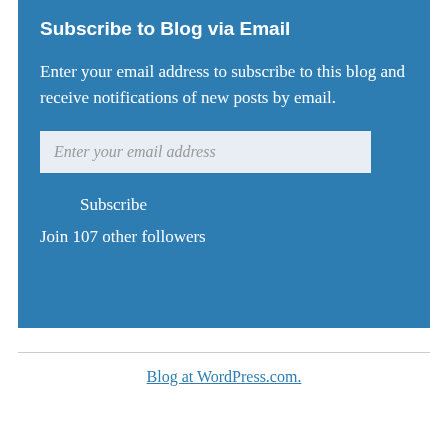Subscribe to Blog via Email
Enter your email address to subscribe to this blog and receive notifications of new posts by email.
Enter your email address
Subscribe
Join 107 other followers
Blog at WordPress.com.